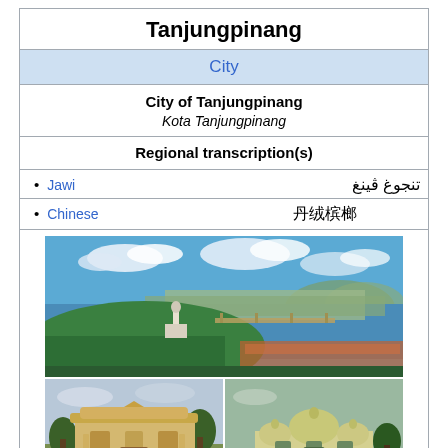Tanjungpinang
City
City of Tanjungpinang
Kota Tanjungpinang
Regional transcription(s)
• Jawi — تنجوغ ڤينغ
• Chinese — 丹绒槟榔
[Figure (photo): Aerial panoramic view of Tanjungpinang city with mosque, sea, bridge, and hills in background]
[Figure (photo): Two photos side by side: left shows a colonial-style ornate building, right shows a domed mosque with green lawn]